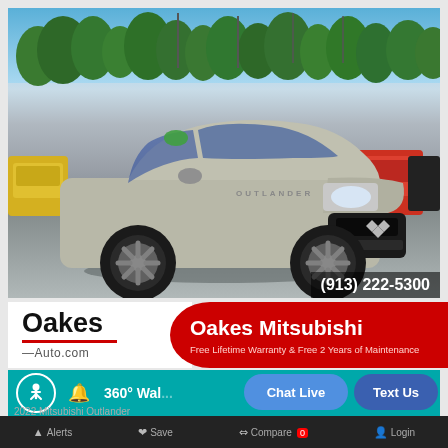[Figure (photo): 2022 Mitsubishi Outlander silver/champagne SUV photographed at a car dealership lot, front 3/4 view, other vehicles visible in background including yellow and red SUVs.]
(913) 222-5300
[Figure (logo): Oakes Auto.com logo with red underline bar]
Oakes Mitsubishi
Free Lifetime Warranty & Free 2 Years of Maintenance
360° Wal...
Chat Live
Text Us
2022 Mitsubishi Outlander
Alerts   Save   Compare 0   Login